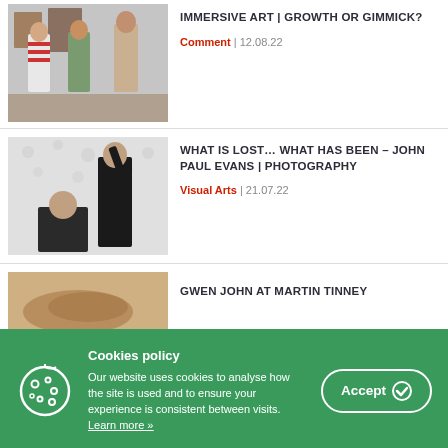[Figure (photo): Three teenagers standing in an art gallery with paintings on the wall behind them.]
IMMERSIVE ART | GROWTH OR GIMMICK?
Comment | 12.08.22
[Figure (photo): Black and white photograph of two men, one appearing to cut the other's hair with a camera.]
WHAT IS LOST… WHAT HAS BEEN – JOHN PAUL EVANS | PHOTOGRAPHY
Visual Arts | 21.07.22
[Figure (photo): Warm-toned image showing what appears to be a painting detail with earthy colors.]
GWEN JOHN AT MARTIN TINNEY
Cookies policy
Our website uses cookies to analyse how the site is used and to ensure your experience is consistent between visits.
Learn more »
Accept